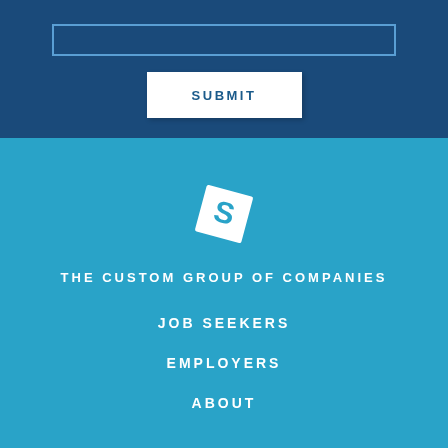SUBMIT
[Figure (logo): The Custom Group of Companies logo — white rotated diamond/square shape with a stylized S letter inside]
THE CUSTOM GROUP OF COMPANIES
JOB SEEKERS
EMPLOYERS
ABOUT